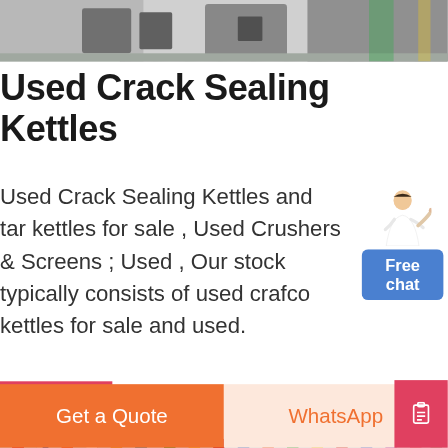[Figure (photo): Partial view of industrial/construction equipment, gray tones, top cropped image]
Used Crack Sealing Kettles
Used Crack Sealing Kettles and tar kettles for sale , Used Crushers & Screens ; Used , Our stock typically consists of used crafco kettles for sale and used.
[Figure (illustration): Chat widget with illustrated woman in white blouse pointing, with blue Free chat button]
MORE
[Figure (photo): Large indoor facility/exhibition hall with many colorful flags hanging from ceiling and structural beams, with heavy machinery below]
Get a Quote   WhatsApp